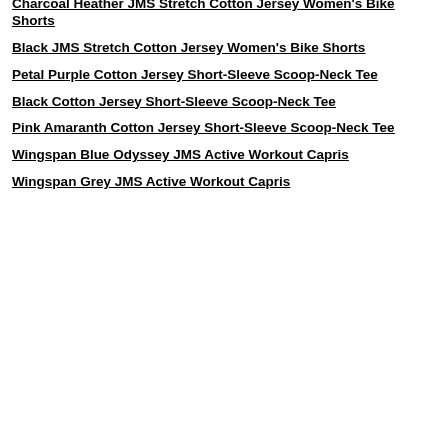Charcoal Heather JMS Stretch Cotton Jersey Women's Bike Shorts
Black JMS Stretch Cotton Jersey Women's Bike Shorts
Petal Purple Cotton Jersey Short-Sleeve Scoop-Neck Tee
Black Cotton Jersey Short-Sleeve Scoop-Neck Tee
Pink Amaranth Cotton Jersey Short-Sleeve Scoop-Neck Tee
Wingspan Blue Odyssey JMS Active Workout Capris
Wingspan Grey JMS Active Workout Capris